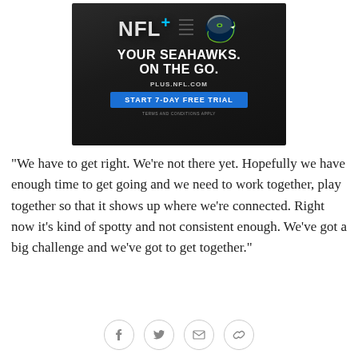[Figure (infographic): NFL+ advertisement banner with Seahawks logo. Dark background with 'NFL+' logo on left, dashed divider, Seahawks helmet logo on right. Text: 'YOUR SEAHAWKS. ON THE GO.' with URL 'PLUS.NFL.COM' and blue CTA button 'START 7-DAY FREE TRIAL'. Small text: 'TERMS AND CONDITIONS APPLY']
"We have to get right. We're not there yet. Hopefully we have enough time to get going and we need to work together, play together so that it shows up where we're connected. Right now it's kind of spotty and not consistent enough. We've got a big challenge and we've got to get together."